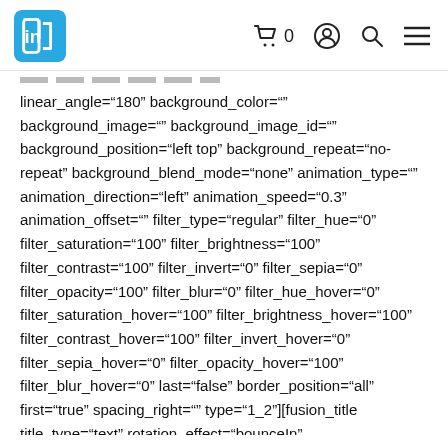InDesign logo, cart icon with 0, user icon, search icon, menu icon
linear_angle="180" background_color="" background_image="" background_image_id="" background_position="left top" background_repeat="no-repeat" background_blend_mode="none" animation_type="" animation_direction="left" animation_speed="0.3" animation_offset="" filter_type="regular" filter_hue="0" filter_saturation="100" filter_brightness="100" filter_contrast="100" filter_invert="0" filter_sepia="0" filter_opacity="100" filter_blur="0" filter_hue_hover="0" filter_saturation_hover="100" filter_brightness_hover="100" filter_contrast_hover="100" filter_invert_hover="0" filter_sepia_hover="0" filter_opacity_hover="100" filter_blur_hover="0" last="false" border_position="all" first="true" spacing_right="" type="1_2"][fusion_title title_type="text" rotation_effect="bounceIn" display_time="1200" highlight_effect="circle" loop_animation="off" highlight_width="9" highlight_top_margin="0" before_text="" rotation_text="" highlight_top_margin="0" before_text="" rotation_text=""